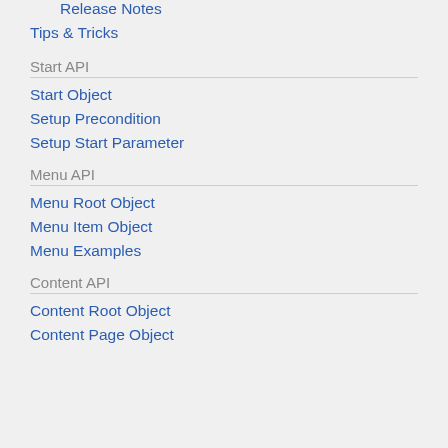Release Notes
Tips & Tricks
Start API
Start Object
Setup Precondition
Setup Start Parameter
Menu API
Menu Root Object
Menu Item Object
Menu Examples
Content API
Content Root Object
Content Page Object